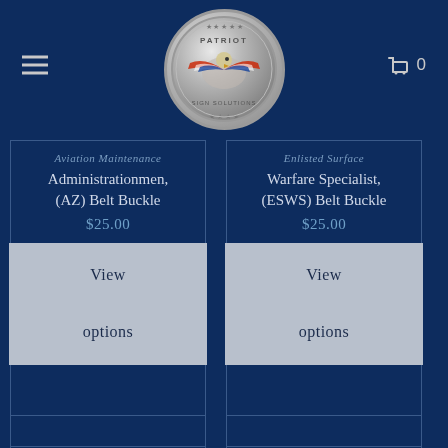[Figure (logo): Patriot Sign Solutions circular logo with eagle motif and American flag colors, silver/metallic coin-style badge]
☰
🛒 0
Aviation Maintenance Administrationmen, (AZ) Belt Buckle
$25.00
View options
Enlisted Surface Warfare Specialist, (ESWS) Belt Buckle
$25.00
View options